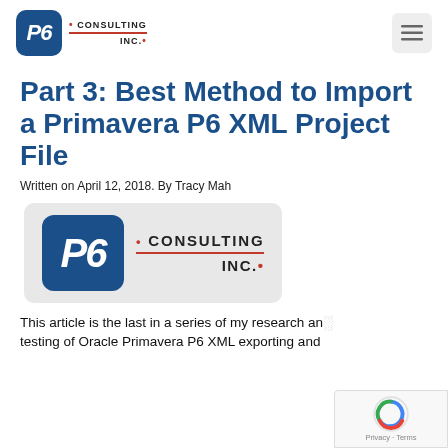[Figure (logo): P6 Consulting Inc. logo in navigation header — blue rounded square with P6 italic text, CONSULTING INC. text with red underline]
[Figure (other): Hamburger menu icon (three horizontal lines) in a light gray rounded box]
Part 3: Best Method to Import a Primavera P6 XML Project File
Written on April 12, 2018. By Tracy Mah
[Figure (logo): P6 Consulting Inc. logo — large version in light gray rounded rectangle box]
This article is the last in a series of my research and testing of Oracle Primavera P6 XML exporting and